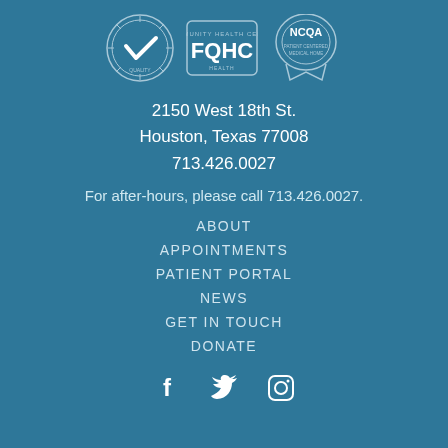[Figure (logo): Three certification logos: The Joint Commission quality seal, FQHC Community Health Center seal, and NCQA recognition seal]
2150 West 18th St.
Houston, Texas 77008
713.426.0027
For after-hours, please call 713.426.0027.
ABOUT
APPOINTMENTS
PATIENT PORTAL
NEWS
GET IN TOUCH
DONATE
[Figure (logo): Social media icons: Facebook, Twitter, Instagram]